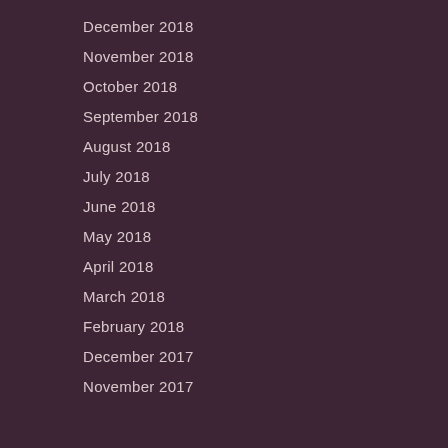December 2018
November 2018
October 2018
September 2018
August 2018
July 2018
June 2018
May 2018
April 2018
March 2018
February 2018
December 2017
November 2017